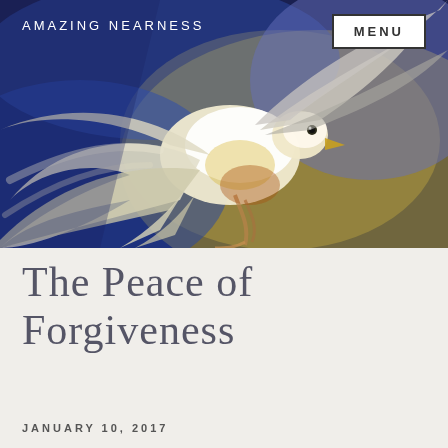[Figure (illustration): Oil painting of a white dove in flight with outstretched wings against a swirling blue and gold background. The bird is rendered in impressionistic style with dynamic brushstrokes suggesting motion and light.]
AMAZING NEARNESS
MENU
The Peace of Forgiveness
JANUARY 10, 2017